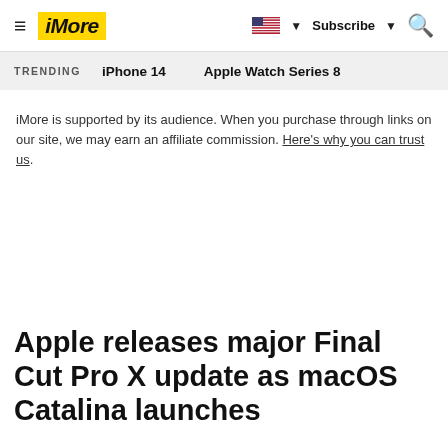iMore — Subscribe — Search
TRENDING   iPhone 14   Apple Watch Series 8
iMore is supported by its audience. When you purchase through links on our site, we may earn an affiliate commission. Here's why you can trust us.
Apple releases major Final Cut Pro X update as macOS Catalina launches